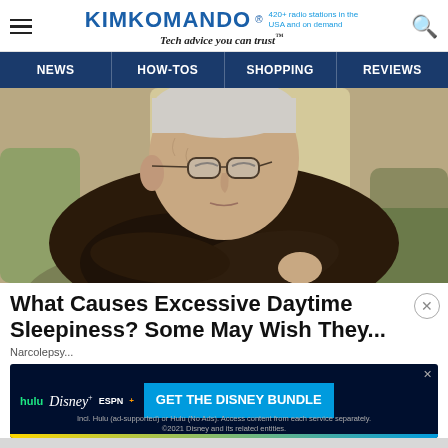KIM KOMANDO® 420+ radio stations in the USA and on demand — Tech advice you can trust™
[Figure (screenshot): Navigation bar with links: NEWS, HOW-TOS, SHOPPING, REVIEWS on dark navy background]
[Figure (photo): Elderly man sleeping in a chair with arms crossed, wearing glasses and a dark sweater]
What Causes Excessive Daytime Sleepiness? Some May Wish They...
Narcolepsy...
[Figure (screenshot): Disney Bundle advertisement showing Hulu, Disney+, ESPN+ logos with 'GET THE DISNEY BUNDLE' call to action. Incl. Hulu (ad-supported) or Hulu (No Ads). Access content from each service separately. ©2021 Disney and its related entities.]